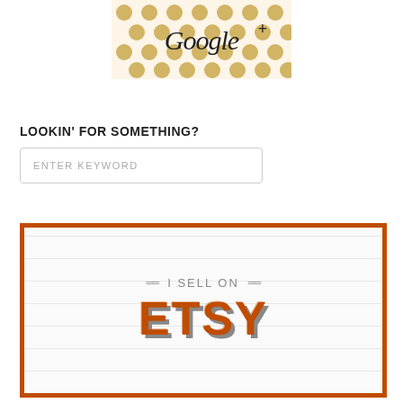[Figure (illustration): Google+ social media button with gold polka dot pattern background and cursive 'Google+' text in dark color]
LOOKIN' FOR SOMETHING?
[Figure (other): Search input box with placeholder text 'ENTER KEYWORD']
[Figure (illustration): I Sell on Etsy badge/banner with orange border, ruled line background, 'I SELL ON' text in gray with decorative double lines, and large 'ETSY' text in orange with gray shadow effect]